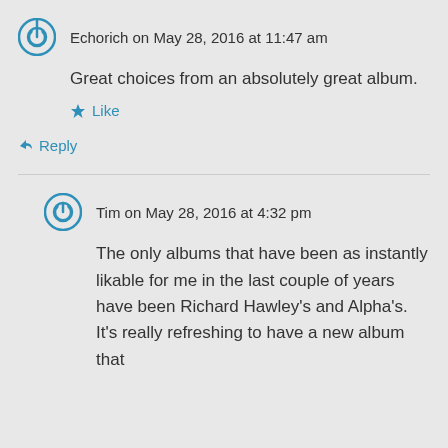Echorich on May 28, 2016 at 11:47 am
Great choices from an absolutely great album.
Like
Reply
Tim on May 28, 2016 at 4:32 pm
The only albums that have been as instantly likable for me in the last couple of years have been Richard Hawley's and Alpha's. It's really refreshing to have a new album that